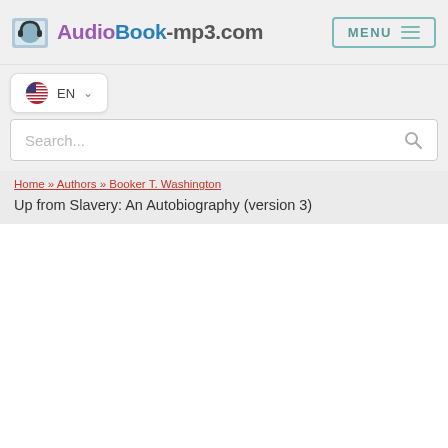[Figure (logo): AudioBook-mp3.com logo with headphone icon and stylized text]
MENU
EN
Search...
Home » Authors » Booker T. Washington
Up from Slavery: An Autobiography (version 3)